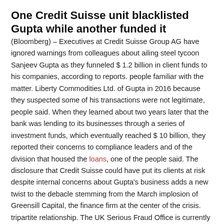One Credit Suisse unit blacklisted Gupta while another funded it
(Bloomberg) – Executives at Credit Suisse Group AG have ignored warnings from colleagues about ailing steel tycoon Sanjeev Gupta as they funneled $ 1.2 billion in client funds to his companies, according to reports. people familiar with the matter. Liberty Commodities Ltd. of Gupta in 2016 because they suspected some of his transactions were not legitimate, people said. When they learned about two years later that the bank was lending to its businesses through a series of investment funds, which eventually reached $ 10 billion, they reported their concerns to compliance leaders and of the division that housed the loans, one of the people said. The disclosure that Credit Suisse could have put its clients at risk despite internal concerns about Gupta's business adds a new twist to the debacle stemming from the March implosion of Greensill Capital, the finance firm at the center of the crisis. tripartite relationship. The UK Serious Fraud Office is currently investigating Gupta's group of companies for suspected fraud, including in its funding deals with Greensill, according to a May 14 statement. Credit Suisse has filed a lawsuit to force Gupta's Liberty Commodities into insolvency and has since shut